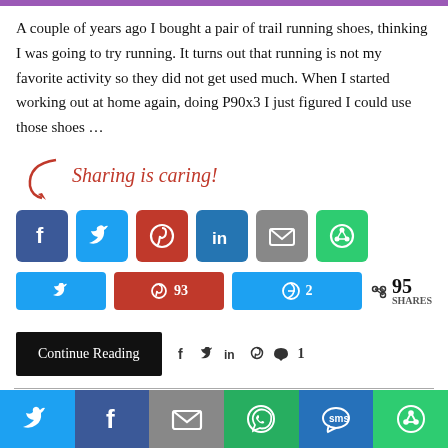A couple of years ago I bought a pair of trail running shoes, thinking I was going to try running. It turns out that running is not my favorite activity so they did not get used much. When I started working out at home again, doing P90x3 I just figured I could use those shoes …
[Figure (infographic): Sharing is caring! social share buttons: Facebook, Twitter, Pinterest, LinkedIn, Email, Other sharing. Share count buttons: Twitter, Pinterest 93, Facebook 2. Total: 95 SHARES]
[Figure (infographic): Continue Reading button with social meta icons (f, twitter, in, pinterest, comment 1) and bottom social sharing bar with Twitter, Facebook, Email, WhatsApp, SMS, Other icons]